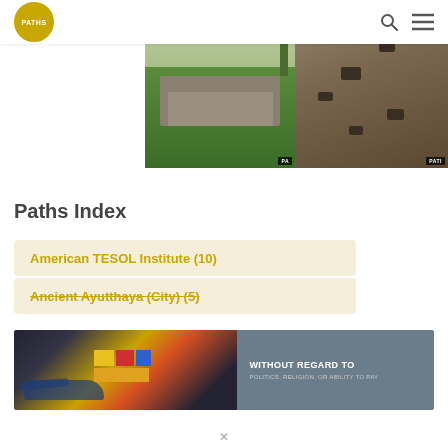[Figure (screenshot): Website navigation bar with Paths logo (yellow circle), search icon, and hamburger menu on white background]
[Figure (photo): Two side-by-side photos: left shows Bunker Hill historical stone structure with greenery, right shows hanging coffins embedded in a cliff face (Sagada/Philippines style). Each has a 'PATHS' watermark label in the bottom right corner.]
Paths Index
American TESOL Institute (10)
Ancient Ayutthaya (City) (5)
[Figure (photo): Advertisement banner: left portion shows a cargo airplane being loaded with colorful freight; right portion shows a dark slate-colored panel with text 'WITHOUT REGARD TO POLITICS, RELIGION, OR ABILITY TO PAY']